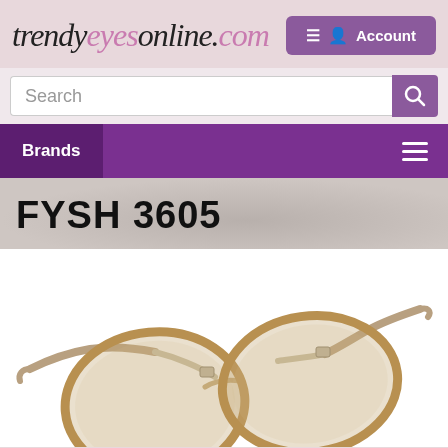trendyeyesonline.com
Search
Brands
FYSH 3605
[Figure (photo): Product photo of FYSH 3605 eyeglass frames — round/oval translucent amber/tan frames with silver metal temples, shown at a three-quarter angle on a white background.]